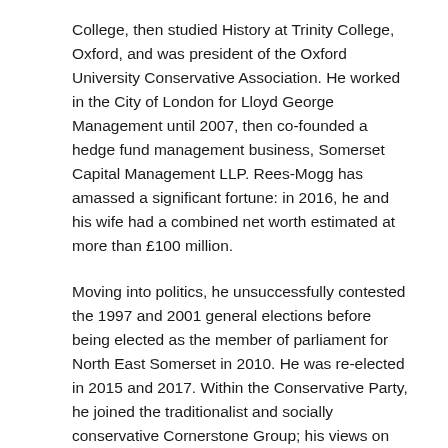College, then studied History at Trinity College, Oxford, and was president of the Oxford University Conservative Association. He worked in the City of London for Lloyd George Management until 2007, then co-founded a hedge fund management business, Somerset Capital Management LLP. Rees-Mogg has amassed a significant fortune: in 2016, he and his wife had a combined net worth estimated at more than £100 million.
Moving into politics, he unsuccessfully contested the 1997 and 2001 general elections before being elected as the member of parliament for North East Somerset in 2010. He was re-elected in 2015 and 2017. Within the Conservative Party, he joined the traditionalist and socially conservative Cornerstone Group; his views on social issues are influenced by his adherence to Roman Catholicism.